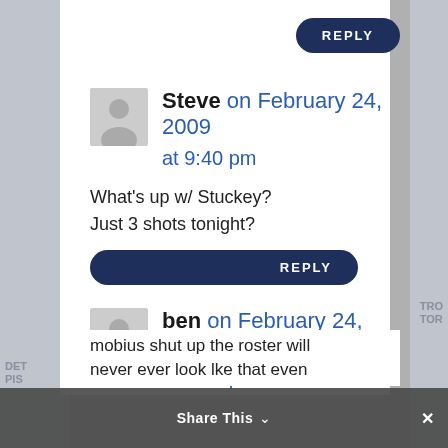[Figure (screenshot): Reply button at top right, dark navy rounded rectangle with text REPLY]
Steve on February 24, 2009 at 9:40 pm
What's up w/ Stuckey?
Just 3 shots tonight?
[Figure (screenshot): Reply button, dark navy rounded rectangle with text REPLY]
ben on February 24, 2009 at 9:45 pm
mobius shut up the roster will never ever look lke that even
Share This